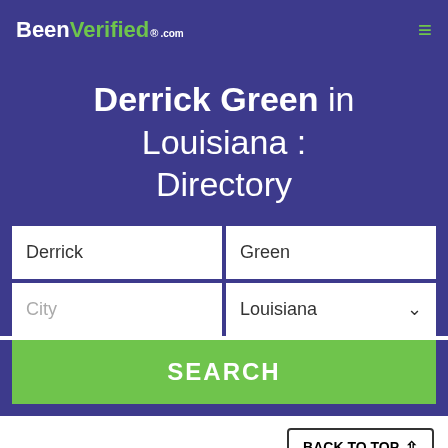BeenVerified.com
Derrick Green in Louisiana : Directory
Derrick | Green
City | Louisiana
SEARCH
BACK TO TOP ↑
"Excellent Support & Service